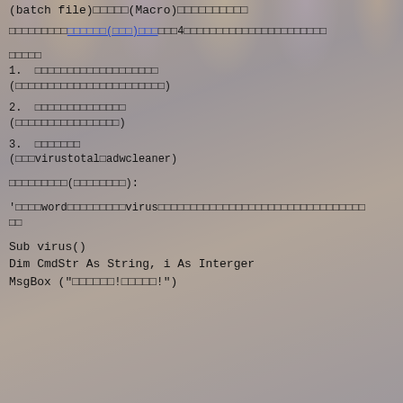(batch file)□□□□□(Macro)□□□□□□□□□□
□□□□□□□□□□□□□□□□□(□□□)□□□□□□□□4□□□□□□□□□□□□□□□□□□□□□□□□
□□□□□
1.  □□□□□□□□□□□□□□□□□□□
(□□□□□□□□□□□□□□□□□□□□□□□)
2.  □□□□□□□□□□□□□□
(□□□□□□□□□□□□□□□□)
3.  □□□□□□□
(□□□virustotal□adwcleaner)
□□□□□□□□□(□□□□□□□□):
'□□□□word□□□□□□□□□□virus□□□□□□□□□□□□□□□□□□□□□□□□□□□□□□□□□□□□□
□□
Sub virus()
Dim CmdStr As String, i As Interger
MsgBox ("□□□□□□!□□□□□!")